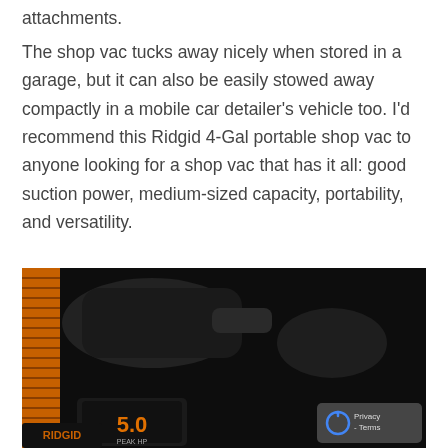attachments.
The shop vac tucks away nicely when stored in a garage, but it can also be easily stowed away compactly in a mobile car detailer’s vehicle too. I’d recommend this Ridgid 4-Gal portable shop vac to anyone looking for a shop vac that has it all: good suction power, medium-sized capacity, portability, and versatility.
[Figure (photo): Close-up dark photo of a Ridgid 4-Gal portable shop vac showing the vacuum head/hose attachment and a label displaying '5.0' with orange and black coloring. A reCAPTCHA privacy badge is visible in the bottom right corner.]